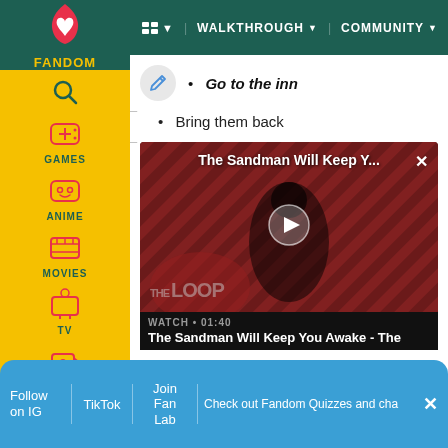WALKTHROUGH ▼  COMMUNITY ▼
Go to the inn
Bring them back
[Figure (screenshot): Video player showing 'The Sandman Will Keep Y...' with play button, THE LOOP logo, watch time 01:40, title 'The Sandman Will Keep You Awake - The']
WATCH • 01:40
The Sandman Will Keep You Awake - The
Follow on IG | TikTok | Join Fan Lab | Check out Fandom Quizzes and cha